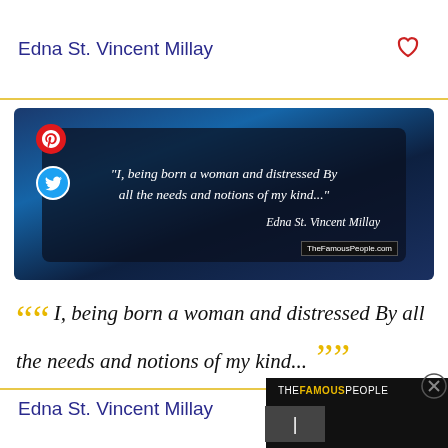Edna St. Vincent Millay
[Figure (photo): Quote image with dark background showing text: "I, being born a woman and distressed By all the needs and notions of my kind..." attributed to Edna St. Vincent Millay, with Pinterest and Twitter share icons overlay.]
I, being born a woman and distressed By all the needs and notions of my kind...
Edna St. Vincent Millay